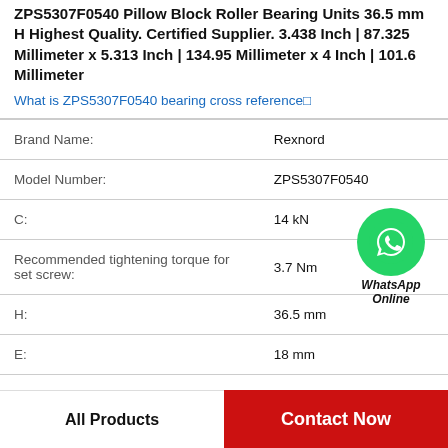ZPS5307F0540 Pillow Block Roller Bearing Units 36.5 mm H Highest Quality. Certified Supplier. 3.438 Inch | 87.325 Millimeter x 5.313 Inch | 134.95 Millimeter x 4 Inch | 101.6 Millimeter
What is ZPS5307F0540 bearing cross reference
| Property | Value |
| --- | --- |
| Brand Name: | Rexnord |
| Model Number: | ZPS5307F0540 |
| C: | 14 kN |
| Recommended tightening torque for set screw: | 3.7 Nm |
| H: | 36.5 mm |
| E: | 18 mm |
[Figure (logo): WhatsApp Online contact button with green phone icon and text WhatsApp Online]
All Products | Contact Now